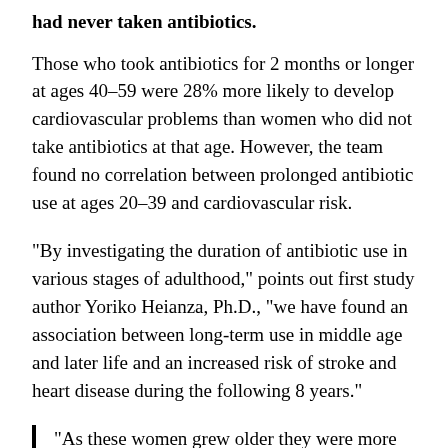had never taken antibiotics.
Those who took antibiotics for 2 months or longer at ages 40–59 were 28% more likely to develop cardiovascular problems than women who did not take antibiotics at that age. However, the team found no correlation between prolonged antibiotic use at ages 20–39 and cardiovascular risk.
“By investigating the duration of antibiotic use in various stages of adulthood,” points out first study author Yoriko Heianza, Ph.D., “we have found an association between long-term use in middle age and later life and an increased risk of stroke and heart disease during the following 8 years.”
“As these women grew older they were more likely to need more antibiotics, and sometimes for longer periods of time, which suggests a